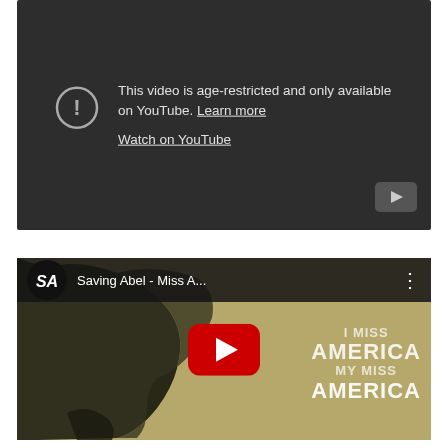[Figure (screenshot): YouTube embedded video player showing age-restricted content warning. Dark background with warning icon, text 'This video is age-restricted and only available on YouTube. Learn more' with 'Watch on YouTube' link. YouTube logo button in bottom right corner.]
[Figure (screenshot): YouTube embedded video player for 'Saving Abel - Miss A...' showing thumbnail with map background, SA logo, video title bar, red YouTube play button in center, and text overlay reading 'I MISS AMERICA MY MISS AMERICA'.]